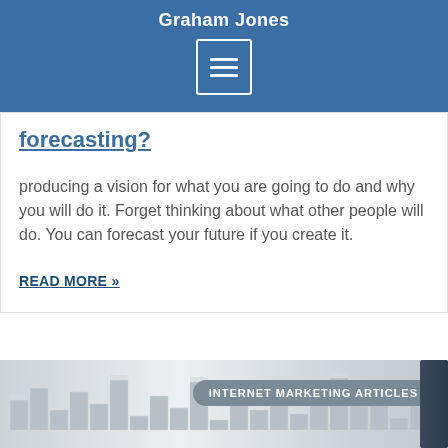Graham Jones
forecasting?
producing a vision for what you are going to do and why you will do it. Forget thinking about what other people will do. You can forecast your future if you create it.
READ MORE »
[Figure (photo): 3D maze or block city photo with 'INTERNET MARKETING ARTICLES' label badge overlaid in the top right area]